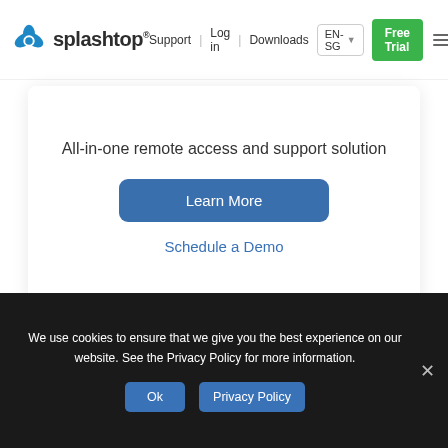Support | Log in | Downloads | EN-SG
[Figure (logo): Splashtop logo with blue splat icon and text 'splashtop']
All-in-one remote access and support solution
Learn More
Schedule a Demo
We use cookies to ensure that we give you the best experience on our website. See the Privacy Policy for more information.
Ok
Privacy Policy